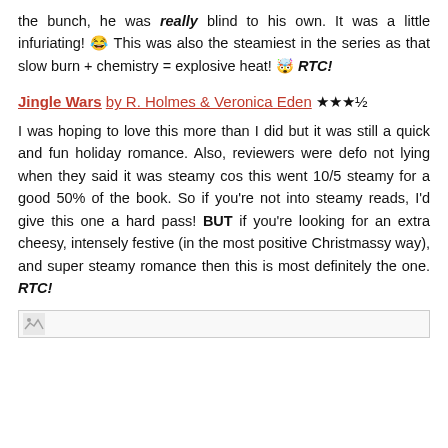the bunch, he was really blind to his own. It was a little infuriating! 😂 This was also the steamiest in the series as that slow burn + chemistry = explosive heat! 🤯 RTC!
Jingle Wars by R. Holmes & Veronica Eden ★★★½
I was hoping to love this more than I did but it was still a quick and fun holiday romance. Also, reviewers were defo not lying when they said it was steamy cos this went 10/5 steamy for a good 50% of the book. So if you're not into steamy reads, I'd give this one a hard pass! BUT if you're looking for an extra cheesy, intensely festive (in the most positive Christmassy way), and super steamy romance then this is most definitely the one. RTC!
[Figure (other): Partial image/divider at the bottom of the page — a broken image placeholder icon visible at the left edge with a horizontal line extending across the page.]